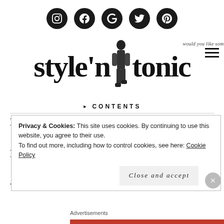[Figure (other): Social media icon buttons: Instagram, Facebook, Google+, Twitter, Pinterest — black circles with white icons]
[Figure (logo): Style'n'Tonic blog logo with a man in a suit walking, tagline 'would you like some...', hamburger menu icon top right]
CONTENTS
Privacy & Cookies: This site uses cookies. By continuing to use this website, you agree to their use. To find out more, including how to control cookies, see here: Cookie Policy
Close and accept
Advertisements